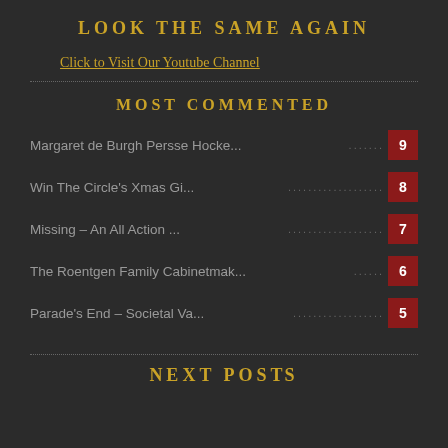LOOK THE SAME AGAIN
Click to Visit Our Youtube Channel
MOST COMMENTED
Margaret de Burgh Persse Hocke... ........ 9
Win The Circle's Xmas Gi... .................. 8
Missing – An All Action ... .................. 7
The Roentgen Family Cabinetmak... ....... 6
Parade's End – Societal Va... ............... 5
NEXT POSTS